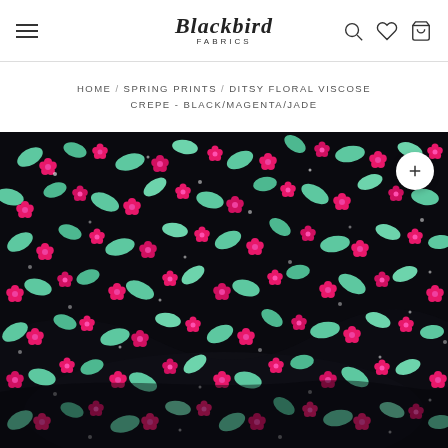Blackbird Fabrics — navigation header with hamburger menu, logo, search, wishlist, and cart icons
HOME / SPRING PRINTS / DITSY FLORAL VISCOSE CREPE - BLACK/MAGENTA/JADE
[Figure (photo): Close-up photograph of Ditsy Floral Viscose Crepe fabric in black background with magenta/pink small flowers and jade/mint green leaves pattern, fabric draped showing texture and print detail. A white circular zoom button with a plus icon is in the top-right corner of the image.]